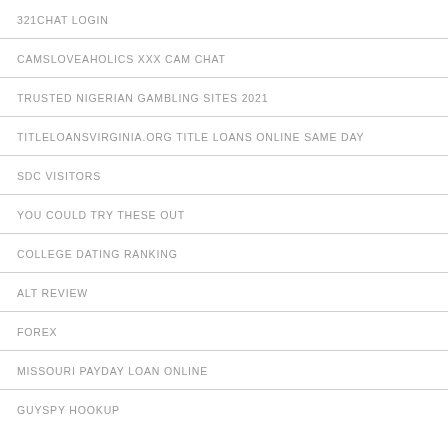321CHAT LOGIN
CAMSLOVEAHOLICS XXX CAM CHAT
TRUSTED NIGERIAN GAMBLING SITES 2021
TITLELOANSVIRGINIA.ORG TITLE LOANS ONLINE SAME DAY
SDC VISITORS
YOU COULD TRY THESE OUT
COLLEGE DATING RANKING
ALT REVIEW
FOREX
MISSOURI PAYDAY LOAN ONLINE
GUYSPY HOOKUP